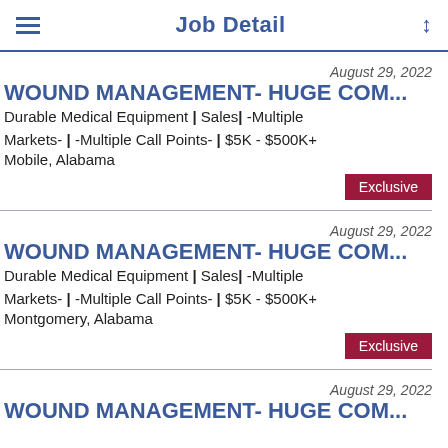Job Detail
August 29, 2022
WOUND MANAGEMENT- HUGE COM...
Durable Medical Equipment | Sales | -Multiple Markets- | -Multiple Call Points- | $5K - $500K+
Mobile, Alabama
Exclusive
August 29, 2022
WOUND MANAGEMENT- HUGE COM...
Durable Medical Equipment | Sales | -Multiple Markets- | -Multiple Call Points- | $5K - $500K+
Montgomery, Alabama
Exclusive
August 29, 2022
WOUND MANAGEMENT- HUGE COM...